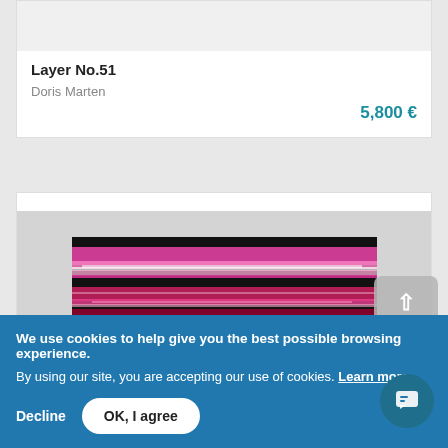Layer No.51
Doris Marten
5,800 €
[Figure (photo): Abstract artwork with horizontal pink, magenta, and red motion-blur streaks on a black background, displayed on a gray wall]
We use cookies to help give you the best possible browsing experience.
By using our site, you are accepting our use of cookies. Learn more.
Decline
OK, I agree